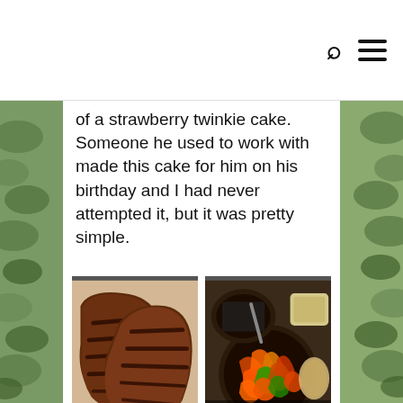of a strawberry twinkie cake. Someone he used to work with made this cake for him on his birthday and I had never attempted it, but it was pretty simple.
[Figure (photo): Two grilled steaks with distinct grill marks on a light background. Caption reads: Pretty grill marks!]
[Figure (photo): Overhead view of cast iron pans with fajita peppers and onions, a bowl of dark filling, a bowl of sauce, and tortillas. Caption reads: I wish I liked peppers and onion!]
Here is the recipe I used for the cake...except instead of the strawberry glaze, I used a can of